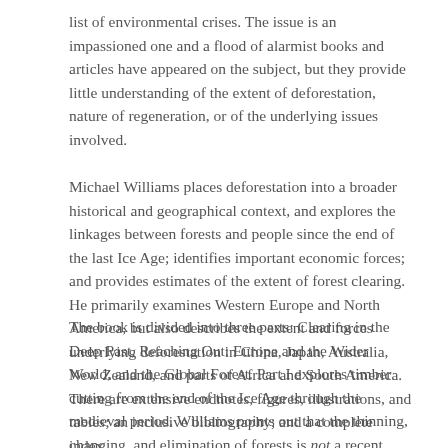list of environmental crises. The issue is an impassioned one and a flood of alarmist books and articles have appeared on the subject, but they provide little understanding of the extent of deforestation, nature of regeneration, or of the underlying issues involved.
Michael Williams places deforestation into a broader historical and geographical context, and explores the linkages between forests and people since the end of the last Ice Age; identifies important economic forces; and provides estimates of the extent of forest clearing. He primarily examines Western Europe and North America, but also describes the extent and forces underlying deforestation in China, Japan, Australia, New Zealand, and parts of Africa and South America. There are extensive endnotes, figures, illustrations, and tables; an inclusive bibliography; and a complete index.
The book is divided into three parts: Clearing in the Deep Past, Reaching Out: Europe and the Wider World, and the Global Forest. Part I explores timber cutting from the end of the Ice Age through the medieval period. Williams points out that the thinning, changing, and elimination of forests is not a recent phenomenon, but rather is as old as the human occupation of the earth. Clearing, and indeed, deforestation, has been intricately tied to conditions of population growth and economic development for the past 14 to 15,000 years. He